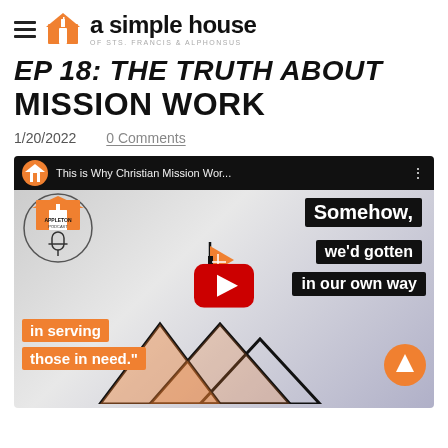a simple house — OF STS. FRANCIS & ALPHONSUS
EP 18: THE TRUTH ABOUT MISSION WORK
1/20/2022    0 Comments
[Figure (screenshot): YouTube video thumbnail for 'This is Why Christian Mission Works' from a simple house / Appleton Podcast. Shows text overlays: 'Somehow, we'd gotten in our own way in serving those in need.' with mountain and flag graphics and YouTube play button.]